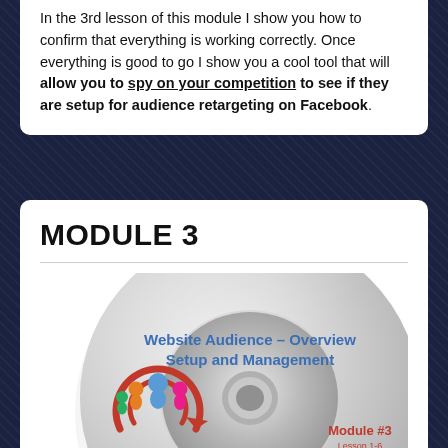In the 3rd lesson of this module I show you how to confirm that everything is working correctly. Once everything is good to go I show you a cool tool that will allow you to spy on your competition to see if they are setup for audience retargeting on Facebook.
MODULE 3
[Figure (illustration): A CD/DVD disc graphic labeled 'Website Audience - Overview Setup and Management' with 'Module #3 Lesson 1-6' text and a logo with people/target imagery]